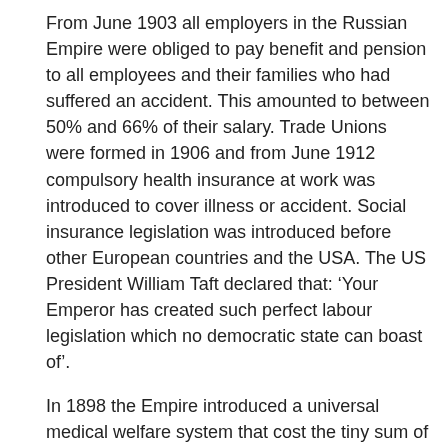From June 1903 all employers in the Russian Empire were obliged to pay benefit and pension to all employees and their families who had suffered an accident. This amounted to between 50% and 66% of their salary. Trade Unions were formed in 1906 and from June 1912 compulsory health insurance at work was introduced to cover illness or accident. Social insurance legislation was introduced before other European countries and the USA. The US President William Taft declared that: ‘Your Emperor has created such perfect labour legislation which no democratic state can boast of’.
In 1898 the Empire introduced a universal medical welfare system that cost the tiny sum of one rouble per year. The Swiss hygienist Friedrich Erismann praised this system as ‘the greatest achievement in the world in the field of social medicine’. Russia was third in the world for the number of its doctors. The Tsar personally insisted on introducing economic reforms and measures against alcohol abuse, often in spite of the Duma. Alcohol consumption per head was one of the lowest in the world and the lowest in Europe outside Norway. In 1913 the number of mentally ill was 187 in every 100,000, compared to 5,598 per 100,000 in the Russian Federation in 2013. The number of